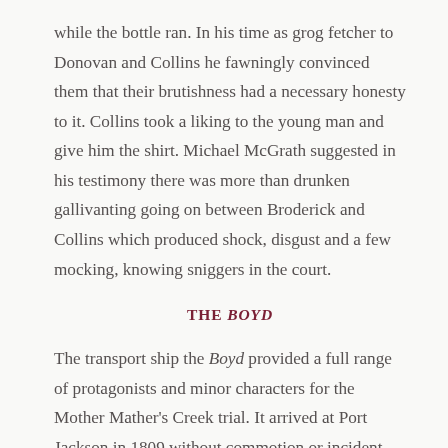while the bottle ran. In his time as grog fetcher to Donovan and Collins he fawningly convinced them that their brutishness had a necessary honesty to it. Collins took a liking to the young man and give him the shirt. Michael McGrath suggested in his testimony there was more than drunken gallivanting going on between Broderick and Collins which produced shock, disgust and a few mocking, knowing sniggers in the court.
THE BOYD
The transport ship the Boyd provided a full range of protagonists and minor characters for the Mother Mather's Creek trial. It arrived at Port Jackson in 1809 without commotion or incident, and quickly exchanged convicts for timber, salted pork and whale oil. The well-kept brigantine's Captain John Thompson was keen to avoid the Southern Ocean weather and had set himself on recouping a large profit on the turnaround